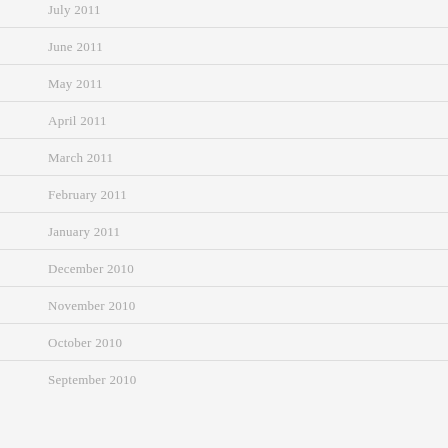July 2011
June 2011
May 2011
April 2011
March 2011
February 2011
January 2011
December 2010
November 2010
October 2010
September 2010